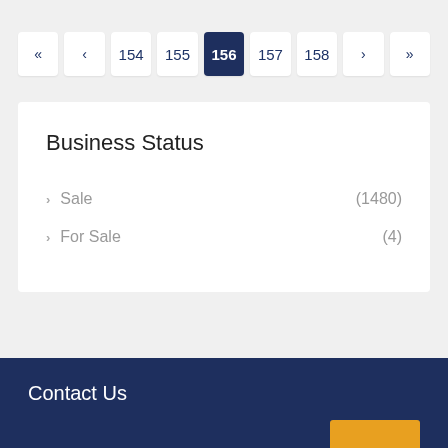Pagination: << < 154 155 156 157 158 > >>
Business Status
Sale (1480)
For Sale (4)
Contact Us